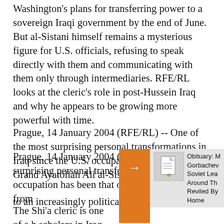Washington's plans for transferring power to a sovereign Iraqi government by the end of June. But al-Sistani himself remains a mysterious figure for U.S. officials, refusing to speak directly with them and communicating with them only through intermediaries. RFE/RL looks at the cleric's role in post-Hussein Iraq and why he appears to be growing more powerful with time.
Prague, 14 January 2004 (RFE/RL) -- One of the most surprising personal transformations in Iraq since the U.S. occupation has been that of Grand Ayatollah Ali al-Sistani from [obscured] to an increasingly political o[obscured]
The Shi'a cleric is one of a h[obscured] scholars in Iraq who are con[obscured] of religious emulation, and f[obscured]
[Figure (other): Orange navigation arrow/bar UI element with right-pointing arrow symbol overlaid on the article, with a sidebar showing an image icon and partial text: 'Obituary: [M] Gorbachev [Soviet Lea] Around Th[e World,] Reviled By [Some at] Home']